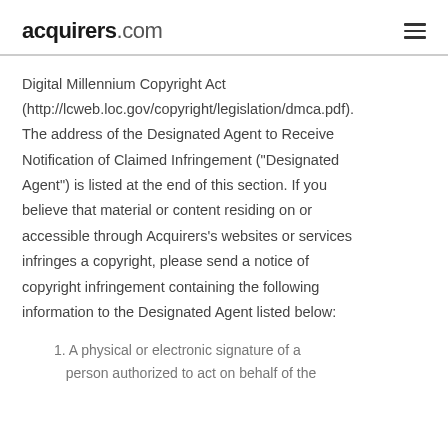acquirers.com
Digital Millennium Copyright Act (http://lcweb.loc.gov/copyright/legislation/dmca.pdf). The address of the Designated Agent to Receive Notification of Claimed Infringement ("Designated Agent") is listed at the end of this section. If you believe that material or content residing on or accessible through Acquirers's websites or services infringes a copyright, please send a notice of copyright infringement containing the following information to the Designated Agent listed below:
1. A physical or electronic signature of a person authorized to act on behalf of the